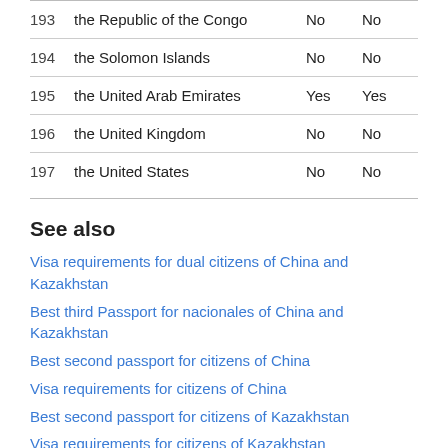| 193 | the Republic of the Congo | No | No |
| 194 | the Solomon Islands | No | No |
| 195 | the United Arab Emirates | Yes | Yes |
| 196 | the United Kingdom | No | No |
| 197 | the United States | No | No |
See also
Visa requirements for dual citizens of China and Kazakhstan
Best third Passport for nacionales of China and Kazakhstan
Best second passport for citizens of China
Visa requirements for citizens of China
Best second passport for citizens of Kazakhstan
Visa requirements for citizens of Kazakhstan